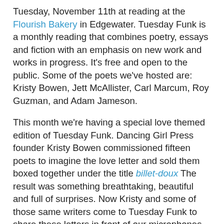Tuesday, November 11th at reading at the Flourish Bakery in Edgewater. Tuesday Funk is a monthly reading that combines poetry, essays and fiction with an emphasis on new work and works in progress. It's free and open to the public. Some of the poets we've hosted are: Kristy Bowen, Jett McAllister, Carl Marcum, Roy Guzman, and Adam Jameson.
This month we're having a special love themed edition of Tuesday Funk. Dancing Girl Press founder Kristy Bowen commissioned fifteen poets to imagine the love letter and sold them boxed together under the title billet-doux The result was something breathtaking, beautiful and full of surprises. Now Kristy and some of those same writers come to Tuesday Funk to share these letters in front of our microphones. Lisbeth Levine, co-author of the The Wedding Book: The Big Book for Your Big Day will share her thoughts on the phenomenon of the contemporary American Wedding. And poet and essayiest Roberta Wilson reflects on the nature of love itself.
We're always on the look out for poets to read. If you're interested in participating in one of our future readings